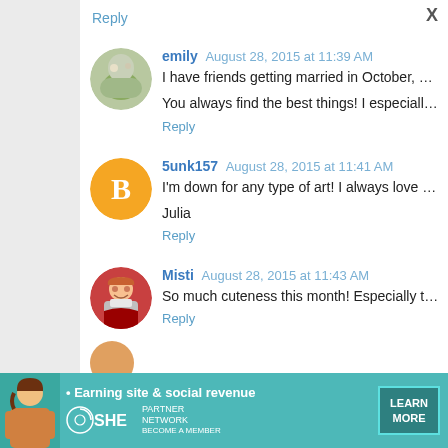Reply
emily  August 28, 2015 at 11:39 AM
I have friends getting married in October, and I need to go p
You always find the best things! I especially love tiny Chewi
Reply
5unk157  August 28, 2015 at 11:41 AM
I'm down for any type of art! I always love your picks. Hope
Julia
Reply
Misti  August 28, 2015 at 11:43 AM
So much cuteness this month! Especially the little Chewie a
Reply
[Figure (infographic): SHE Partner Network advertisement banner: Earning site & social revenue, LEARN MORE button]